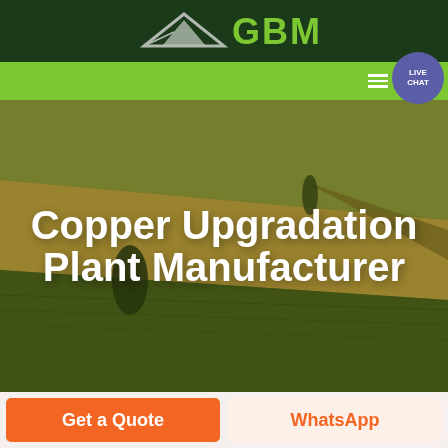[Figure (logo): GBM company logo with white/gray triangle/arrow shape on dark green background with green GBM text]
[Figure (screenshot): Green navigation bar with hamburger menu and Live Chat button (purple circle)]
[Figure (photo): Aerial photo of farmland/agricultural fields with rolling terrain in warm yellow-green tones]
Copper Upgradation Plant Manufacturer
Get a Quote
WhatsApp